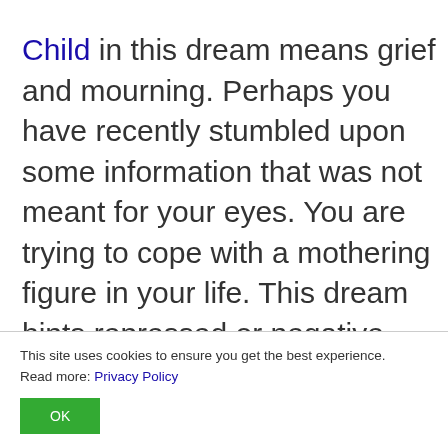Child in this dream means grief and mourning. Perhaps you have recently stumbled upon some information that was not meant for your eyes. You are trying to cope with a mothering figure in your life. This dream hints repressed or negative feelings about yourself. You need to stay more
This site uses cookies to ensure you get the best experience. Read more: Privacy Policy
OK